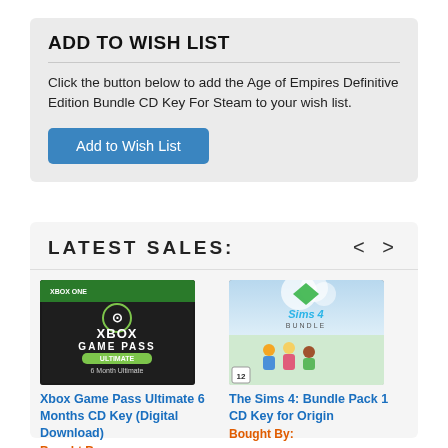ADD TO WISH LIST
Click the button below to add the Age of Empires Definitive Edition Bundle CD Key For Steam to your wish list.
Add to Wish List
LATEST SALES:
[Figure (photo): Xbox Game Pass Ultimate 6 Month box art on dark background with XBOX ONE branding]
Xbox Game Pass Ultimate 6 Months CD Key (Digital Download)
Bought By:
[Figure (photo): The Sims 4 Bundle Pack 1 CD Key box art cover]
The Sims 4: Bundle Pack 1 CD Key for Origin
Bought By: